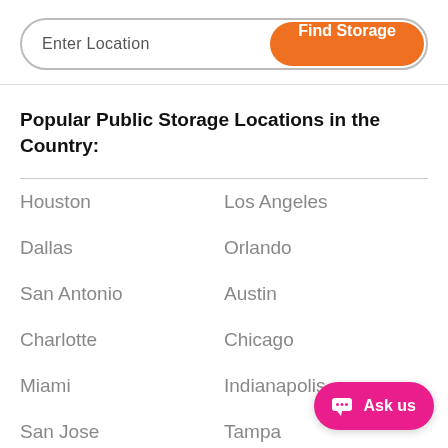[Figure (screenshot): Search bar with 'Enter Location' placeholder text on the left and an orange 'Find Storage' button on the right, inside a rounded pill-shaped border.]
Popular Public Storage Locations in the Country:
Houston
Los Angeles
Dallas
Orlando
San Antonio
Austin
Charlotte
Chicago
Miami
Indianapolis
San Jose
Tampa
Denver
Las Vegas
Atlanta
Seattle
[Figure (other): Pink 'Ask us' chat button in bottom right corner with a chat icon.]